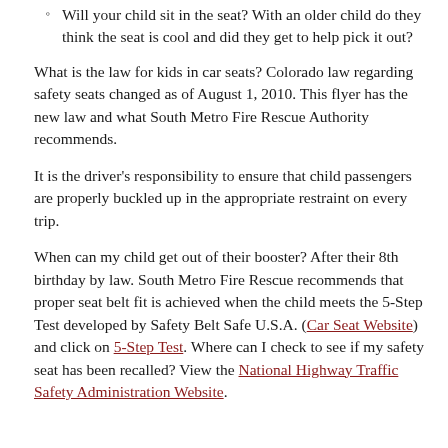Will your child sit in the seat? With an older child do they think the seat is cool and did they get to help pick it out?
What is the law for kids in car seats? Colorado law regarding safety seats changed as of August 1, 2010. This flyer has the new law and what South Metro Fire Rescue Authority recommends.
It is the driver's responsibility to ensure that child passengers are properly buckled up in the appropriate restraint on every trip.
When can my child get out of their booster? After their 8th birthday by law. South Metro Fire Rescue recommends that proper seat belt fit is achieved when the child meets the 5-Step Test developed by Safety Belt Safe U.S.A. (Car Seat Website) and click on 5-Step Test. Where can I check to see if my safety seat has been recalled? View the National Highway Traffic Safety Administration Website.